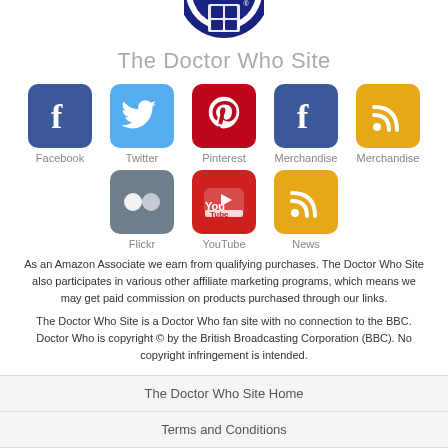[Figure (logo): The Doctor Who Site logo - circular emblem with blue/white design, partially cropped at top]
The Doctor Who Site
[Figure (infographic): Social media icons grid: Row 1: Facebook (blue), Twitter (light blue), Pinterest (red), Merchandise/Facebook (blue), Merchandise/RSS (orange). Row 2: Flickr (gray), YouTube (red), News/RSS (orange). Each icon has a label below.]
As an Amazon Associate we earn from qualifying purchases. The Doctor Who Site also participates in various other affiliate marketing programs, which means we may get paid commission on products purchased through our links.
The Doctor Who Site is a Doctor Who fan site with no connection to the BBC. Doctor Who is copyright © by the British Broadcasting Corporation (BBC). No copyright infringement is intended.
The Doctor Who Site Home
Terms and Conditions